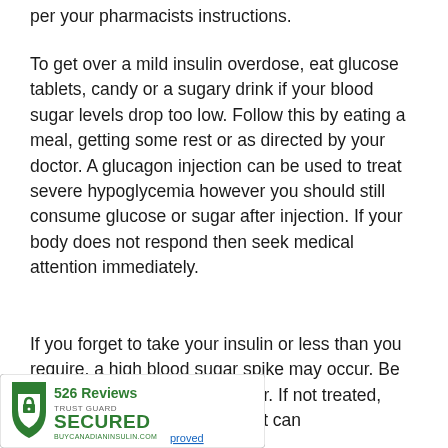per your pharmacists instructions.
To get over a mild insulin overdose, eat glucose tablets, candy or a sugary drink if your blood sugar levels drop too low. Follow this by eating a meal, getting some rest or as directed by your doctor. A glucagon injection can be used to treat severe hypoglycemia however you should still consume glucose or sugar after injection. If your body does not respond then seek medical attention immediately.
If you forget to take your insulin or less than you require, a high blood sugar spike may occur. Be sure to check your blood sugar. If not treated, [it can] lead to side effects that can
[Figure (other): Trust Guard Secured badge with 526 Reviews and BUYCANADIANINSULIN.COM text, overlapping the bottom-left of the page]